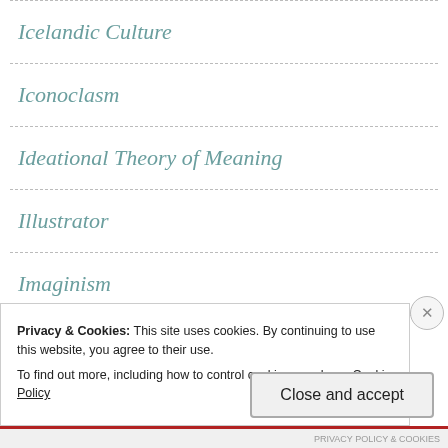Icelandic Culture
Iconoclasm
Ideational Theory of Meaning
Illustrator
Imaginism
Privacy & Cookies: This site uses cookies. By continuing to use this website, you agree to their use. To find out more, including how to control cookies, see here: Cookie Policy
Close and accept